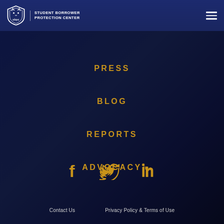STUDENT BORROWER PROTECTION CENTER
PRESS
BLOG
REPORTS
ADVOCACY
[Figure (other): Social media icons: Facebook, Twitter, LinkedIn in gold/amber color]
Contact Us   Privacy Policy & Terms of Use